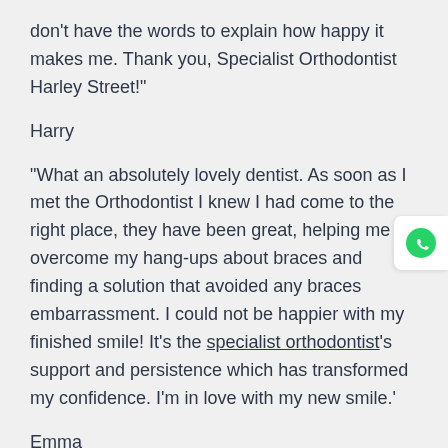don't have the words to explain how happy it makes me. Thank you, Specialist Orthodontist Harley Street!"
Harry
"What an absolutely lovely dentist. As soon as I met the Orthodontist I knew I had come to the right place, they have been great, helping me overcome my hang-ups about braces and finding a solution that avoided any braces embarrassment. I could not be happier with my finished smile! It's the specialist orthodontist's support and persistence which has transformed my confidence. I'm in love with my new smile.'
Emma
'The service provided by the team was exceptional. They really are orthodontic specialists! From the